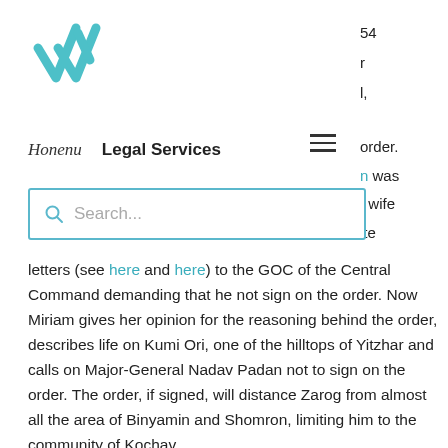[Figure (logo): Honenu organization logo — teal/turquoise double checkmark or stylized letters in teal color]
54
r
l,
order.
n was
; wife
te
Honenu   Legal Services
[Figure (other): Hamburger menu icon (three horizontal lines)]
[Figure (other): Search bar with magnifying glass icon and placeholder text 'Search...']
letters (see here and here) to the GOC of the Central Command demanding that he not sign on the order. Now Miriam gives her opinion for the reasoning behind the order, describes life on Kumi Ori, one of the hilltops of Yitzhar and calls on Major-General Nadav Padan not to sign on the order. The order, if signed, will distance Zarog from almost all the area of Binyamin and Shomron, limiting him to the community of Kochav